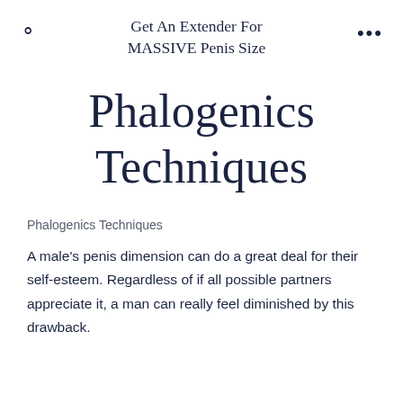Get An Extender For MASSIVE Penis Size
Phalogenics Techniques
Phalogenics Techniques
A male's penis dimension can do a great deal for their self-esteem. Regardless of if all possible partners appreciate it, a man can really feel diminished by this drawback.